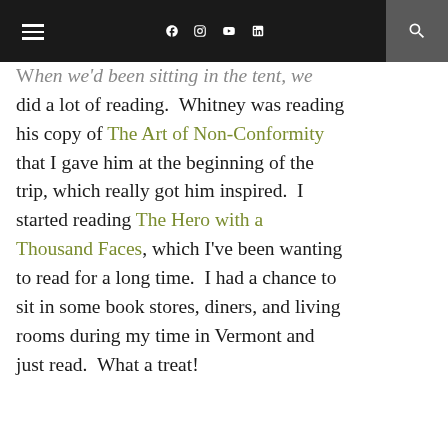≡ f  in  🔍
...when we'd been sitting in the tent, we did a lot of reading.  Whitney was reading his copy of The Art of Non-Conformity that I gave him at the beginning of the trip, which really got him inspired.  I started reading The Hero with a Thousand Faces, which I've been wanting to read for a long time.  I had a chance to sit in some book stores, diners, and living rooms during my time in Vermont and just read.  What a treat!